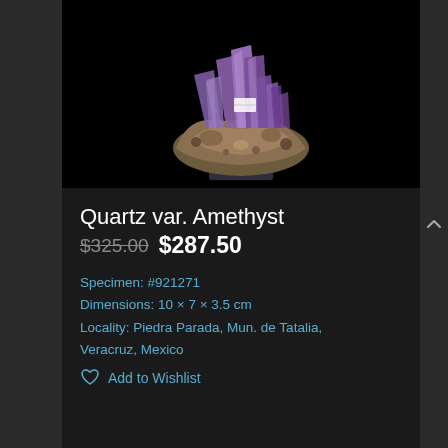[Figure (photo): Amethyst quartz mineral specimen on a black stand against a black background. Large purple crystals visible at top, brownish rocky matrix below.]
Quartz var. Amethyst
$325.00 $287.50
Specimen: #921271
Dimensions: 10 × 7 × 3.5 cm
Locality: Piedra Parada, Mun. de Tatalia, Veracruz, Mexico
Add to Wishlist